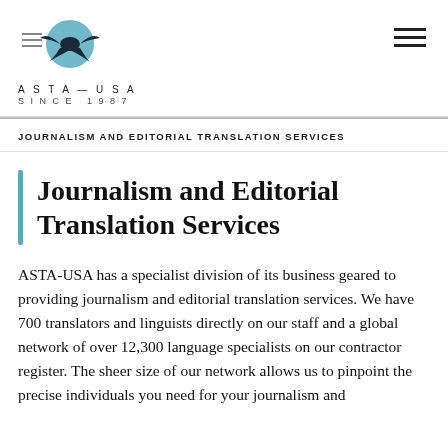[Figure (logo): ASTA-USA logo with a stylized bird/swallow in a teal circle with horizontal lines, text reads ASTA—USA SINCE 1987]
JOURNALISM AND EDITORIAL TRANSLATION SERVICES
Journalism and Editorial Translation Services
ASTA-USA has a specialist division of its business geared to providing journalism and editorial translation services. We have 700 translators and linguists directly on our staff and a global network of over 12,300 language specialists on our contractor register. The sheer size of our network allows us to pinpoint the precise individuals you need for your journalism and